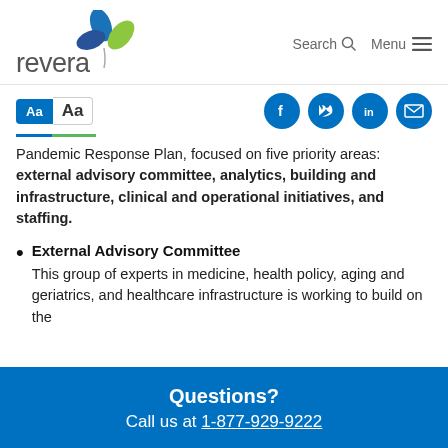[Figure (logo): Revera logo with stylized leaf graphic and wordmark 'revera']
Search  Menu
Aa  Aa
Pandemic Response Plan, focused on five priority areas: external advisory committee, analytics, building and infrastructure, clinical and operational initiatives, and staffing.
External Advisory Committee
This group of experts in medicine, health policy, aging and geriatrics, and healthcare infrastructure is working to build on the
Questions?
Call us at 1-877-929-9222